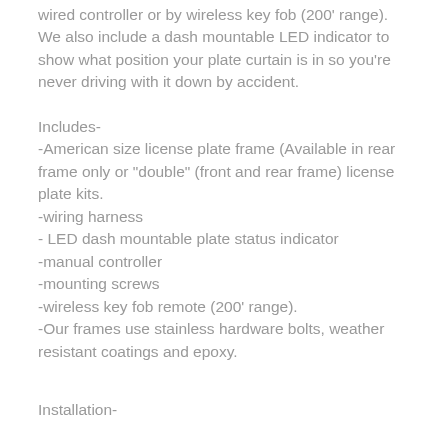wired controller or by wireless key fob (200' range). We also include a dash mountable LED indicator to show what position your plate curtain is in so you're never driving with it down by accident.
Includes-
-American size license plate frame (Available in rear frame only or "double" (front and rear frame) license plate kits.
-wiring harness
- LED dash mountable plate status indicator
-manual controller
-mounting screws
-wireless key fob remote (200' range).
-Our frames use stainless hardware bolts, weather resistant coatings and epoxy.
Installation-
Our blackout plate kit is as easy to install as charging